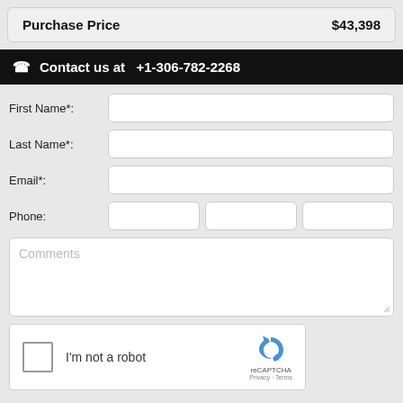Purchase Price   $43,398
Contact us at  +1-306-782-2268
First Name*:
Last Name*:
Email*:
Phone:
Comments
[Figure (other): reCAPTCHA widget with checkbox labeled 'I'm not a robot' and reCAPTCHA logo with Privacy and Terms links]